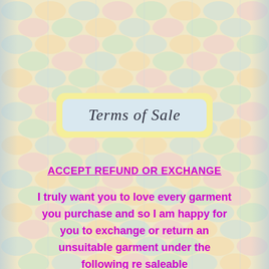Terms of Sale
ACCEPT REFUND OR EXCHANGE
I truly want you to love every garment you purchase and so I am happy for you to exchange or return an unsuitable garment under the following re saleable